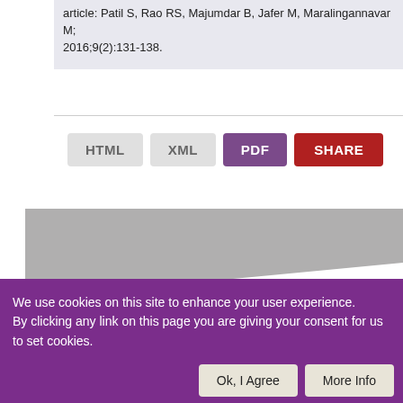article: Patil S, Rao RS, Majumdar B, Jafer M, Maralingannavar M; 2016;9(2):131-138.
HTML  XML  PDF  SHARE
[Figure (illustration): Decorative banner graphic with grey and purple diagonal swoosh shapes on a grey background.]
We use cookies on this site to enhance your user experience. By clicking any link on this page you are giving your consent for us to set cookies.
Ok, I Agree   More Info